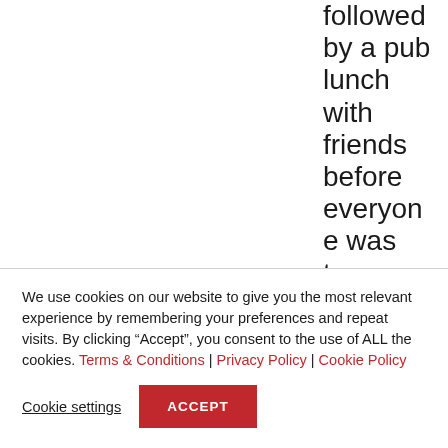followed by a pub lunch with friends before everyone was transported by
We use cookies on our website to give you the most relevant experience by remembering your preferences and repeat visits. By clicking “Accept”, you consent to the use of ALL the cookies. Terms & Conditions | Privacy Policy | Cookie Policy
Cookie settings | ACCEPT